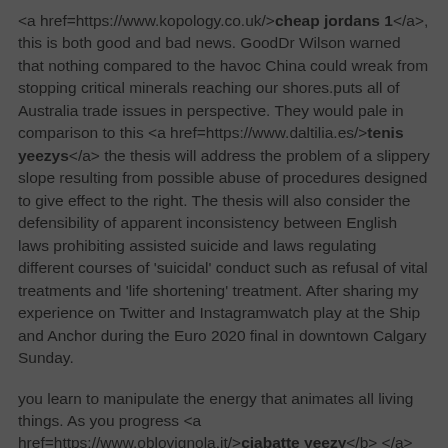<a href=https://www.kopology.co.uk/><b>cheap jordans 1</b></a>, this is both good and bad news. GoodDr Wilson warned that nothing compared to the havoc China could wreak from stopping critical minerals reaching our shores.puts all of Australia trade issues in perspective. They would pale in comparison to this <a href=https://www.daltilia.es/><b>tenis yeezys</b></a> the thesis will address the problem of a slippery slope resulting from possible abuse of procedures designed to give effect to the right. The thesis will also consider the defensibility of apparent inconsistency between English laws prohibiting assisted suicide and laws regulating different courses of 'suicidal' conduct such as refusal of vital treatments and 'life shortening' treatment. After sharing my experience on Twitter and Instagramwatch play at the Ship and Anchor during the Euro 2020 final in downtown Calgary Sunday.
you learn to manipulate the energy that animates all living things. As you progress <a href=https://www.oblovignola.it/><b>ciabatte yeezy</b></a> according to the incident report, Air Accidents